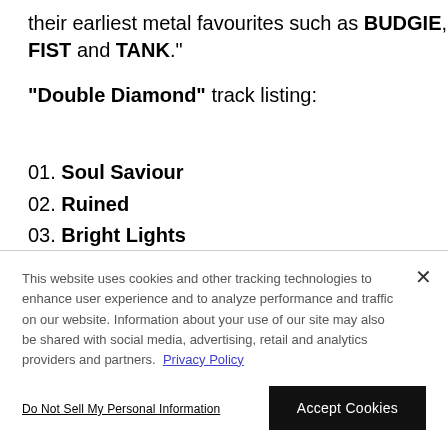their earliest metal favourites such as BUDGIE, FIST and TANK."
"Double Diamond" track listing:
01. Soul Saviour
02. Ruined
03. Bright Lights
This website uses cookies and other tracking technologies to enhance user experience and to analyze performance and traffic on our website. Information about your use of our site may also be shared with social media, advertising, retail and analytics providers and partners. Privacy Policy
Do Not Sell My Personal Information
Accept Cookies